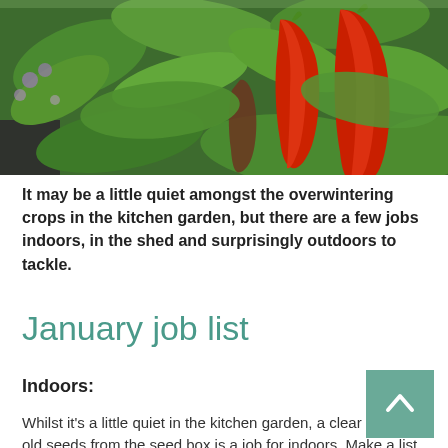[Figure (photo): Close-up photograph of red chili peppers growing on a plant with green leaves, with purple flowers visible in the background]
It may be a little quiet amongst the overwintering crops in the kitchen garden, but there are a few jobs indoors, in the shed and surprisingly outdoors to tackle.
January job list
Indoors:
Whilst it's a little quiet in the kitchen garden, a clear out of old seeds from the seed box is a job for indoors. Make a list as you